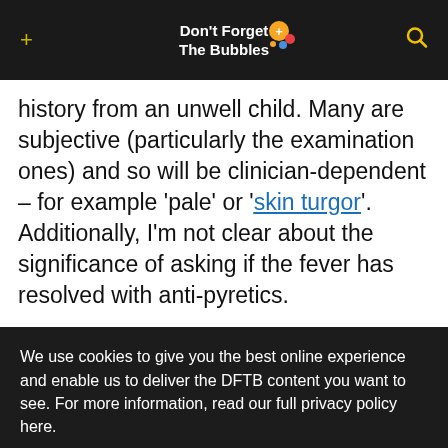Don't Forget The Bubbles
history from an unwell child. Many are subjective (particularly the examination ones) and so will be clinician-dependent – for example 'pale' or 'skin turgor'. Additionally, I'm not clear about the significance of asking if the fever has resolved with anti-pyretics.
We use cookies to give you the best online experience and enable us to deliver the DFTB content you want to see. For more information, read our full privacy policy here.
Accept All
Dismiss